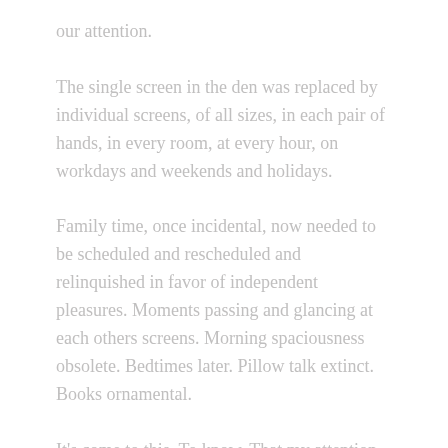our attention.
The single screen in the den was replaced by individual screens, of all sizes, in each pair of hands, in every room, at every hour, on workdays and weekends and holidays.
Family time, once incidental, now needed to be scheduled and rescheduled and relinquished in favor of independent pleasures. Moments passing and glancing at each others screens. Morning spaciousness obsolete. Bedtimes later. Pillow talk extinct. Books ornamental.
It's come to this. To know. That my attention. Has rarely been singular.
In a weekend retreat with Tara Brach at the Kripalu Center for Yoga and Health, I make a discovery. Once singularly focused on nothing but my breath, I am overcome. By